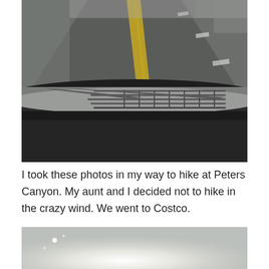[Figure (photo): View from inside a car looking through the windshield at a highway road with yellow center lines and white dashed lane markers, with the car's dark dashboard and windshield wipers visible in the foreground.]
I took these photos in my way to hike at Peters Canyon. My aunt and I decided not to hike in the crazy wind. We went to Costco.
[Figure (photo): Partial photo showing a bright overexposed sky with lens flare, likely an outdoor scene on a hazy or windy day.]